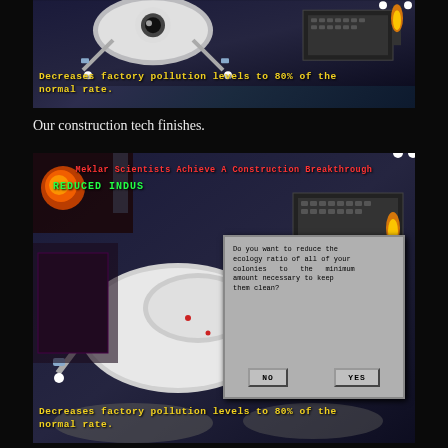[Figure (screenshot): Video game screenshot showing a robot character in a sci-fi factory setting. Yellow text overlay reads: 'Decreases factory pollution levels to 80% of the normal rate.']
Our construction tech finishes.
[Figure (screenshot): Video game screenshot showing a robot character in a sci-fi factory setting. Red headline text: 'Meklar Scientists Achieve A Construction Breakthrough'. Green text: 'REDUCED INDUS'. Dialog box with text: 'Do you want to reduce the ecology ratio of all of your colonies to the minimum amount necessary to keep them clean?' with NO and YES buttons. Yellow text overlay reads: 'Decreases factory pollution levels to 80% of the normal rate.']